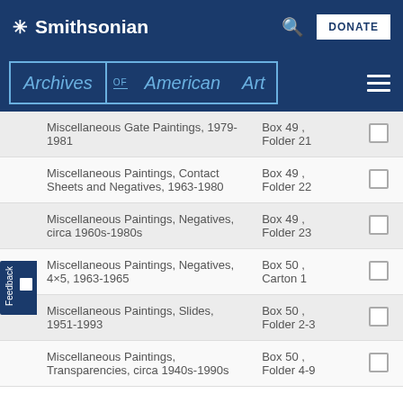Smithsonian
Archives of American Art
| Title | Location | Select |
| --- | --- | --- |
| Miscellaneous Gate Paintings, 1979-1981 | Box 49 , Folder 21 |  |
| Miscellaneous Paintings, Contact Sheets and Negatives, 1963-1980 | Box 49 , Folder 22 |  |
| Miscellaneous Paintings, Negatives, circa 1960s-1980s | Box 49 , Folder 23 |  |
| Miscellaneous Paintings, Negatives, 4×5, 1963-1965 | Box 50 , Carton 1 |  |
| Miscellaneous Paintings, Slides, 1951-1993 | Box 50 , Folder 2-3 |  |
| Miscellaneous Paintings, Transparencies, circa 1940s-1990s | Box 50 , Folder 4-9 |  |